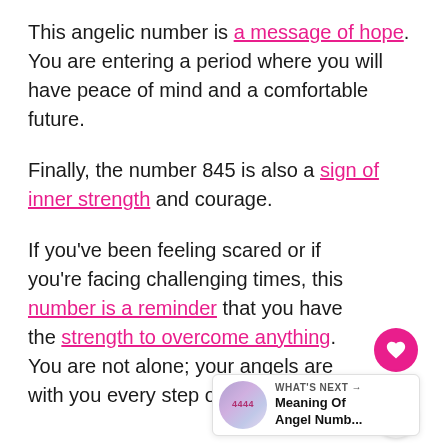This angelic number is a message of hope. You are entering a period where you will have peace of mind and a comfortable future.
Finally, the number 845 is also a sign of inner strength and courage.
If you've been feeling scared or if you're facing challenging times, this number is a reminder that you have the strength to overcome anything. You are not alone; your angels are with you every step of the way.
[Figure (infographic): Social widget with heart/like button showing count of 1, and a share button]
[Figure (infographic): What's Next widget showing a thumbnail with angel number text (4444) and label 'Meaning Of Angel Numb...']